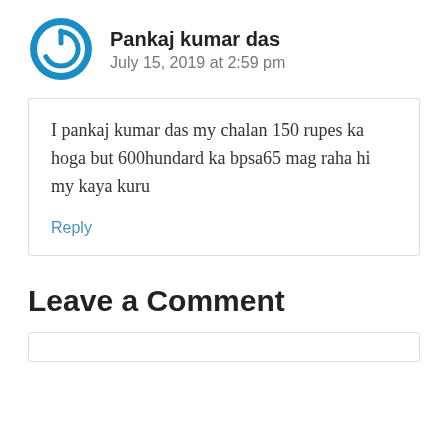[Figure (logo): Blue circular power button icon used as avatar for commenter Pankaj kumar das]
Pankaj kumar das
July 15, 2019 at 2:59 pm
I pankaj kumar das my chalan 150 rupes ka hoga but 600hundard ka bpsa65 mag raha hi my kaya kuru
Reply
Leave a Comment